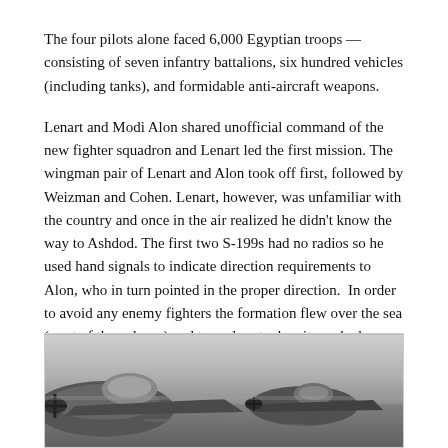The four pilots alone faced 6,000 Egyptian troops — consisting of seven infantry battalions, six hundred vehicles (including tanks), and formidable anti-aircraft weapons.
Lenart and Modi Alon shared unofficial command of the new fighter squadron and Lenart led the first mission. The wingman pair of Lenart and Alon took off first, followed by Weizman and Cohen. Lenart, however, was unfamiliar with the country and once in the air realized he didn't know the way to Ashdod. The first two S-199s had no radios so he used hand signals to indicate direction requirements to Alon, who in turn pointed in the proper direction.  In order to avoid any enemy fighters the formation flew over the sea (west of the column) and turned east when it reached Ashdod.
[Figure (photo): Black and white photograph showing military aircraft on the ground, viewed from close range, partial view of cockpit and fuselage visible.]